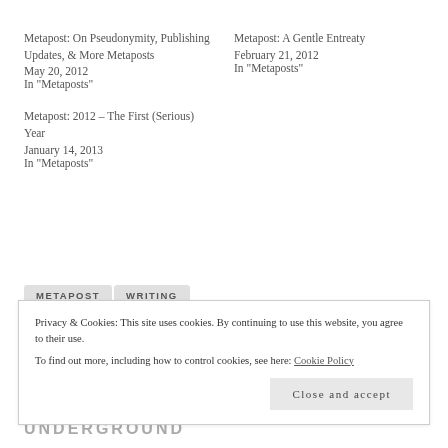Metapost: On Pseudonymity, Publishing Updates, & More Metaposts
May 20, 2012
In "Metaposts"
Metapost: A Gentle Entreaty
February 21, 2012
In "Metaposts"
Metapost: 2012 – The First (Serious) Year
January 14, 2013
In "Metaposts"
METAPOST   WRITING
Privacy & Cookies: This site uses cookies. By continuing to use this website, you agree to their use.
To find out more, including how to control cookies, see here: Cookie Policy
Close and accept
UNDERGROUND